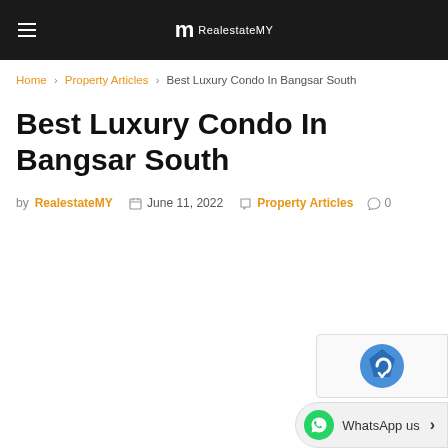RealestateMY
Home > Property Articles > Best Luxury Condo In Bangsar South
Best Luxury Condo In Bangsar South
by RealestateMY  June 11, 2022  Property Articles  0